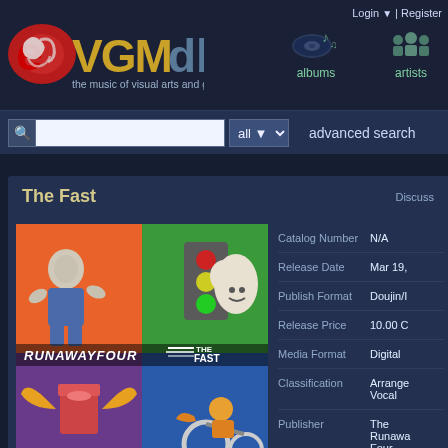VGMdb - the music of visual arts and games | Login | Register | albums | artists
advanced search
The Fast
[Figure (illustration): Album cover art for 'The Fast' by Runaway Four. Four-panel illustration with cartoon characters: top-left shows a muscular robot/hero figure on orange background, top-right shows a traffic light with a smiley cloud on green background, bottom-left shows a cup with wings on purple background, bottom-right shows a person on a motorcycle on blue background. Text reads 'RUNAWAYFOUR THE FAST' in stylized font across the middle.]
| Field | Value |
| --- | --- |
| Catalog Number | N/A |
| Release Date | Mar 19, |
| Publish Format | Doujin/I |
| Release Price | 10.00 C |
| Media Format | Digital |
| Classification | Arrange
Vocal |
| Publisher | The
Runawa
Four |